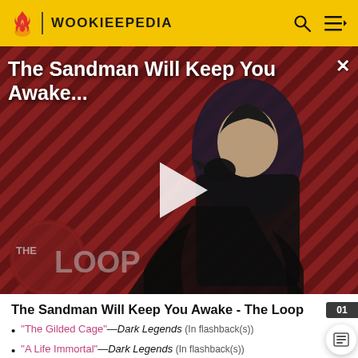WOOKIEEPEDIA
[Figure (screenshot): Video thumbnail for 'The Sandman Will Keep You Awake...' featuring a dark figure in a cape against a red diagonal striped background, with THE LOOP logo and a play button overlay.]
The Sandman Will Keep You Awake - The Loop
"The Gilded Cage"—Dark Legends (In flashback(s))
"A Life Immortal"—Dark Legends (In flashback(s))
Halcyon Legacy 1 (In flashback(s))
Halcyon Legacy 3 (In flashback(s))